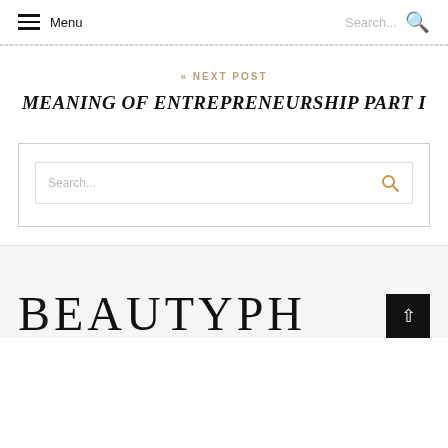Menu   Search...
« NEXT POST
MEANING OF ENTREPRENEURSHIP PART I
[Figure (screenshot): Search bar widget with placeholder text 'Search...' and a gold/amber search icon on the right, inside a bordered box]
BEAUTYPH